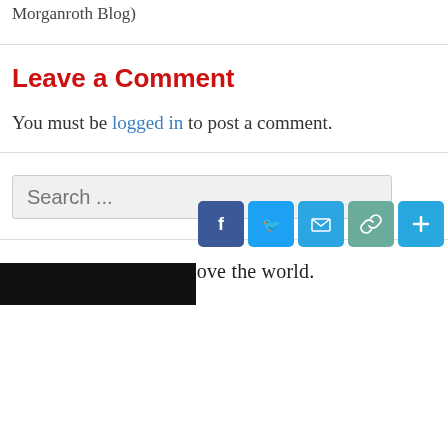Morganroth Blog)
Leave a Comment
You must be logged in to post a comment.
Search ...
Detroit. Move here. Move the world.
[Figure (screenshot): Social sharing icons: Facebook, Twitter, Email, Link, and a plus button]